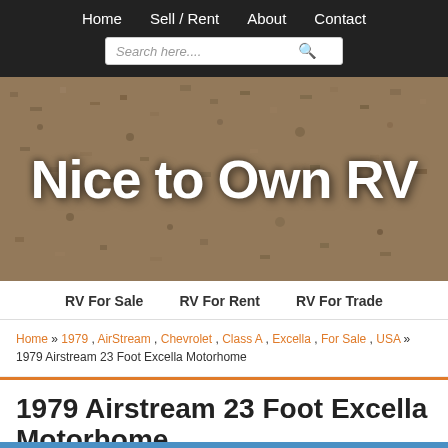Home  Sell / Rent  About  Contact
[Figure (illustration): Nice to Own RV website hero banner with large white text 'Nice to Own RV' on a dirt/gravel textured background]
RV For Sale   RV For Rent   RV For Trade
Home » 1979 , AirStream , Chevrolet , Class A , Excella , For Sale , USA » 1979 Airstream 23 Foot Excella Motorhome
1979 Airstream 23 Foot Excella Motorhome
Written By Admin on Thursday, May 18, 2017 | 12:29 AM